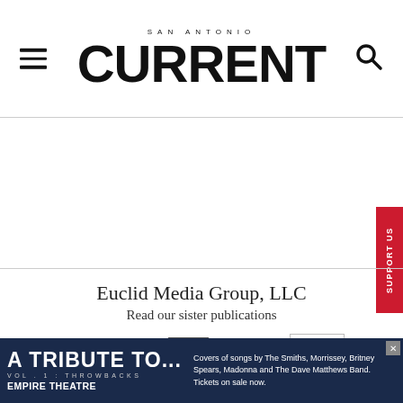SAN ANTONIO CURRENT
[Figure (logo): San Antonio Current newspaper logo with hamburger menu and search icon]
Euclid Media Group, LLC
Read our sister publications
[Figure (logo): Sister publication logos: SCENE, CityBeat, Creative Loafing, Metro Times, Orlando Weekly]
[Figure (other): Advertisement banner: A TRIBUTE TO... VOL 1: THROWBACKS at EMPIRE THEATRE. Covers of songs by The Smiths, Morrissey, Britney Spears, Madonna and The Dave Matthews Band. Tickets on sale now.]